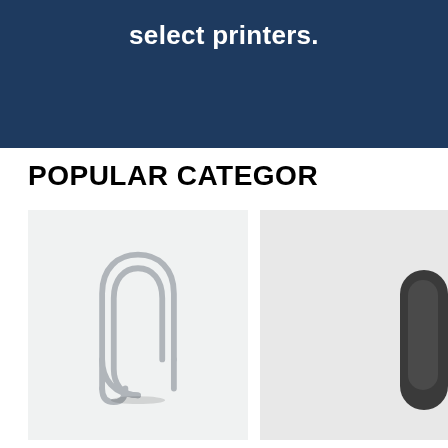select printers.
POPULAR CATEGOR
[Figure (photo): A silver metal paper clip on a light gray background]
[Figure (photo): Partial view of a dark object, likely a computer mouse or peripheral device, on a light background]